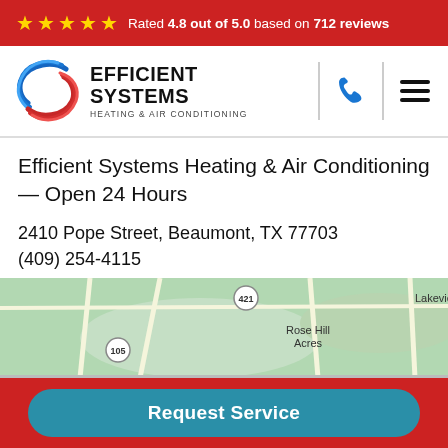Rated 4.8 out of 5.0 based on 712 reviews
[Figure (logo): Efficient Systems Heating & Air Conditioning logo with blue and red swirl graphic]
Efficient Systems Heating & Air Conditioning — Open 24 Hours
2410 Pope Street, Beaumont, TX 77703
(409) 254-4115
[Figure (map): Google Maps showing area around Rose Hill Acres near Beaumont TX, with roads 421 and 105 visible, and Lakeview label]
Request Service